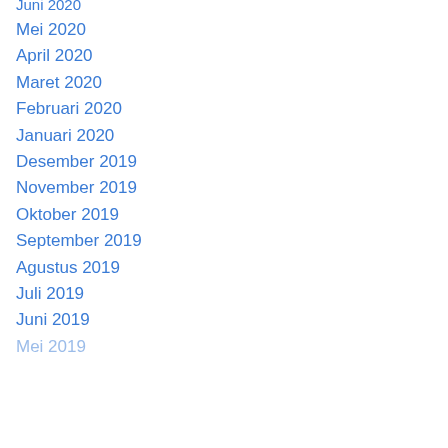Juni 2020
Mei 2020
April 2020
Maret 2020
Februari 2020
Januari 2020
Desember 2019
November 2019
Oktober 2019
September 2019
Agustus 2019
Juli 2019
Juni 2019
Mei 2019